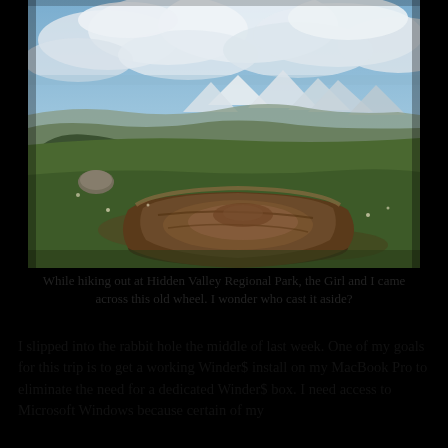[Figure (photo): Outdoor landscape photo showing an abandoned rusty wagon wheel hub lying on green hillside grass, with snow-capped mountains and cloudy sky in the background at Hidden Valley Regional Park.]
While hiking out at Hidden Valley Regional Park, the Girl and I came across this old wheel. I wonder who cast it aside?
I slipped into the rabbit hole the middle of last week. One of my goals for this trip is to get a working Winder$ install on my MacBook Pro to eliminate the need for a dedicated Winder$ box. I need access to Microsoft Windows because certain of my